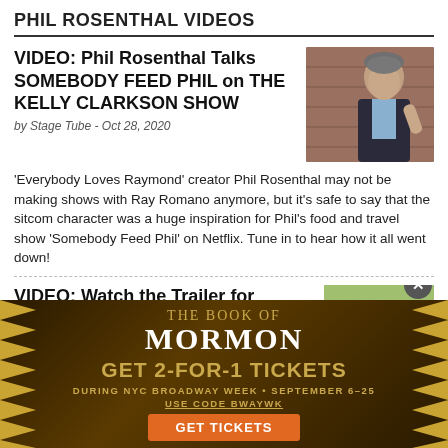PHIL ROSENTHAL VIDEOS
VIDEO: Phil Rosenthal Talks SOMEBODY FEED PHIL on THE KELLY CLARKSON SHOW
by Stage Tube - Oct 28, 2020
[Figure (photo): Man in suit gesturing, speaking on a TV show]
'Everybody Loves Raymond' creator Phil Rosenthal may not be making shows with Ray Romano anymore, but it's safe to say that the sitcom character was a huge inspiration for Phil's food and travel show 'Somebody Feed Phil' on Netflix. Tune in to hear how it all went down!
VIDEO: Watch the Trailer for Season Four of SOMEBODY FEED
[Figure (photo): Person in hard hat / construction setting]
[Figure (infographic): THE BOOK OF MORMON advertisement - GET 2-FOR-1 TICKETS DURING NYC BROADWAY WEEK - SEPTEMBER 6-25 - USE CODE BWAYWK - GET TICKETS]